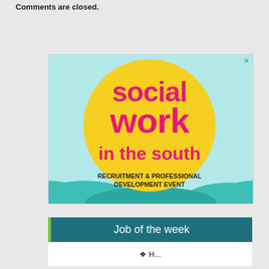Comments are closed.
[Figure (illustration): Social Work in the South recruitment and professional development event advertisement. Light blue background with teal wave shapes at bottom. Large yellow circle in center with hot pink bold text reading 'social work in the south' and below in dark text 'RECRUITMENT & PROFESSIONAL DEVELOPMENT EVENT'. Small X close button in top right corner.]
Job of the week